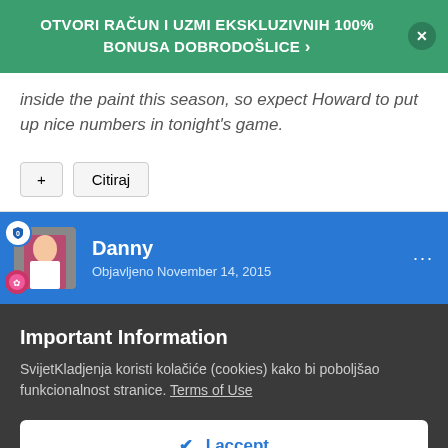OTVORI RAČUN I UZMI EKSKLUZIVNIH 100% BONUSA DOBRODOŠLICE ›
inside the paint this season, so expect Howard to put up nice numbers in tonight's game.
+ Citiraj
Danny
Objavljeno November 14, 2015
Important Information
SvijetKladjenja koristi kolačiće (cookies) kako bi poboljšao funkcionalnost stranice. Terms of Use
✔ I accept